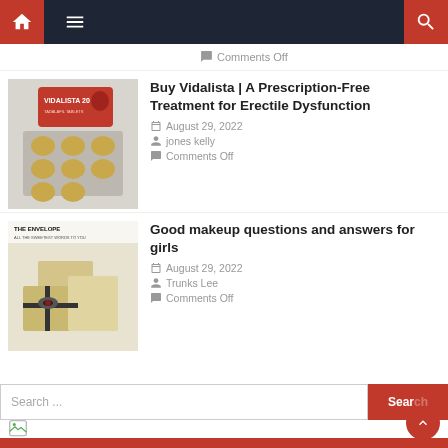Navigation bar with home, menu, and search icons
Comments Off
Buy Vidalista | A Prescription-Free Treatment for Erectile Dysfunction
August 29, 2022
jones kelly
Comments Off
[Figure (photo): Vidalista 20 tablet blister pack with red packaging]
Good makeup questions and answers for girls
August 29, 2022
Trunks Lee
Comments Off
[Figure (photo): The Envelope — gift boxes wrapped with black ribbon bows]